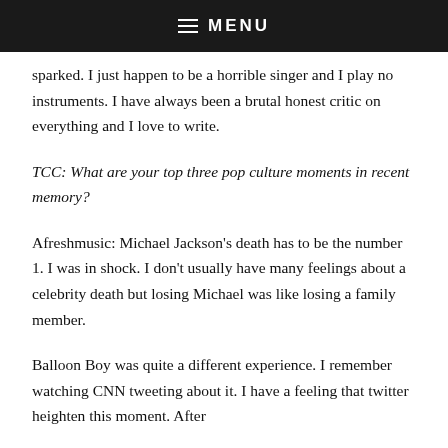MENU
sparked. I just happen to be a horrible singer and I play no instruments. I have always been a brutal honest critic on everything and I love to write.
TCC: What are your top three pop culture moments in recent memory?
Afreshmusic: Michael Jackson's death has to be the number 1. I was in shock. I don't usually have many feelings about a celebrity death but losing Michael was like losing a family member.
Balloon Boy was quite a different experience. I remember watching CNN tweeting about it. I have a feeling that twitter heighten this moment. After